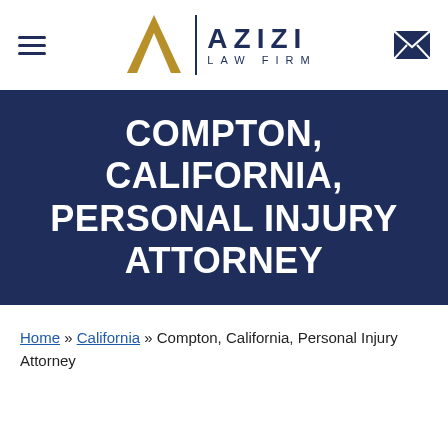[Figure (logo): Azizi Law Firm logo with stylized gold A letter, vertical divider, and AZIZI LAW FIRM text in navy blue, with hamburger menu on left and envelope icon on right]
COMPTON, CALIFORNIA, PERSONAL INJURY ATTORNEY
Home » California » Compton, California, Personal Injury Attorney